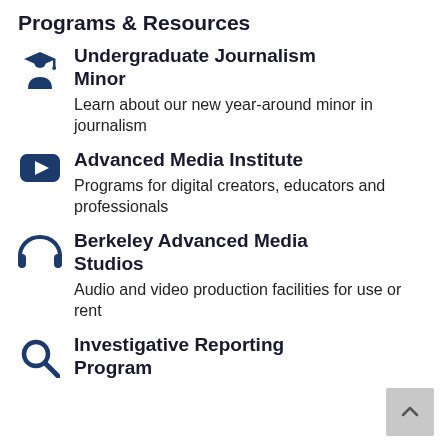Programs & Resources
Undergraduate Journalism Minor
Learn about our new year-around minor in journalism
Advanced Media Institute
Programs for digital creators, educators and professionals
Berkeley Advanced Media Studios
Audio and video production facilities for use or rent
Investigative Reporting Program